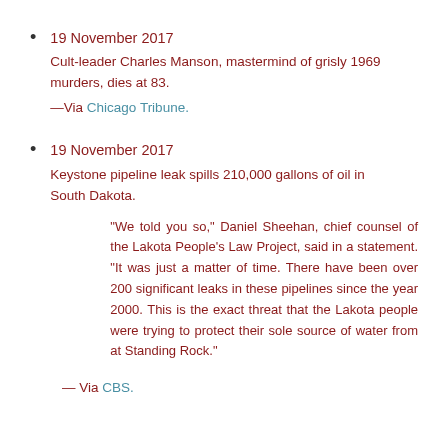19 November 2017
Cult-leader Charles Manson, mastermind of grisly 1969 murders, dies at 83.
—Via Chicago Tribune.
19 November 2017
Keystone pipeline leak spills 210,000 gallons of oil in South Dakota.
"We told you so," Daniel Sheehan, chief counsel of the Lakota People's Law Project, said in a statement. "It was just a matter of time. There have been over 200 significant leaks in these pipelines since the year 2000. This is the exact threat that the Lakota people were trying to protect their sole source of water from at Standing Rock."
— Via CBS.